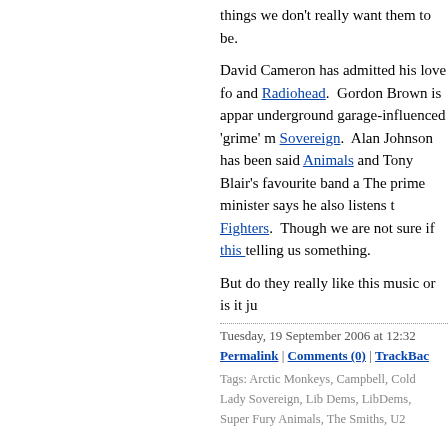things we don't really want them to be.
David Cameron has admitted his love for and Radiohead. Gordon Brown is apparently into underground garage-influenced 'grime' music and Lady Sovereign. Alan Johnson has been said to like the Super Fury Animals and Tony Blair's favourite band are The Smiths. The prime minister says he also listens to the Foo Fighters. Though we are not sure if this is telling us something.
But do they really like this music or is it ju
Tuesday, 19 September 2006 at 12:32
Permalink | Comments (0) | TrackBac
Tags: Arctic Monkeys, Campbell, Cold Lady Sovereign, Lib Dems, LibDems, Super Fury Animals, The Smiths, U2
Are Lib Dem tax plans 'Fair Greener'?
[Figure (photo): Photo of Menzies Campbell, a bald elderly man]
It may not h Menzies Ca vote on ne